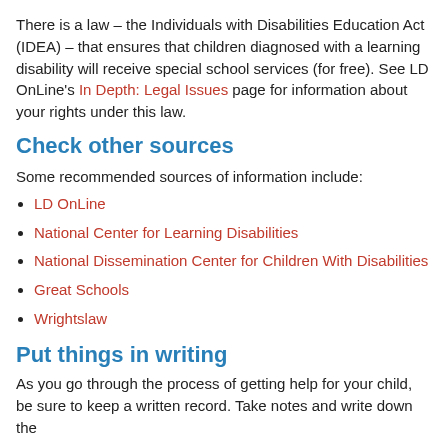There is a law – the Individuals with Disabilities Education Act (IDEA) – that ensures that children diagnosed with a learning disability will receive special school services (for free). See LD OnLine's In Depth: Legal Issues page for information about your rights under this law.
Check other sources
Some recommended sources of information include:
LD OnLine
National Center for Learning Disabilities
National Dissemination Center for Children With Disabilities
Great Schools
Wrightslaw
Put things in writing
As you go through the process of getting help for your child, be sure to keep a written record. Take notes and write down the